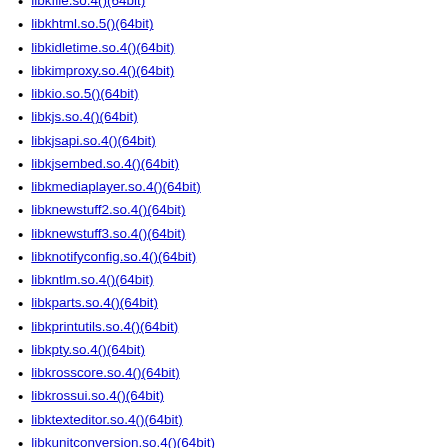libkfile.so.4()(64bit)
libkhtml.so.5()(64bit)
libkidletime.so.4()(64bit)
libkimproxy.so.4()(64bit)
libkio.so.5()(64bit)
libkjs.so.4()(64bit)
libkjsapi.so.4()(64bit)
libkjsembed.so.4()(64bit)
libkmediaplayer.so.4()(64bit)
libknewstuff2.so.4()(64bit)
libknewstuff3.so.4()(64bit)
libknotifyconfig.so.4()(64bit)
libkntlm.so.4()(64bit)
libkparts.so.4()(64bit)
libkprintutils.so.4()(64bit)
libkpty.so.4()(64bit)
libkrosscore.so.4()(64bit)
libkrossui.so.4()(64bit)
libktexteditor.so.4()(64bit)
libkunitconversion.so.4()(64bit)
libkunittest.so.4()(64bit)
libkutils.so.4()(64bit)
libplasma.so.3()(64bit)
libsolid.so.4()(64bit)
libstdc++.so.6()(64bit)
libthreadweaver...